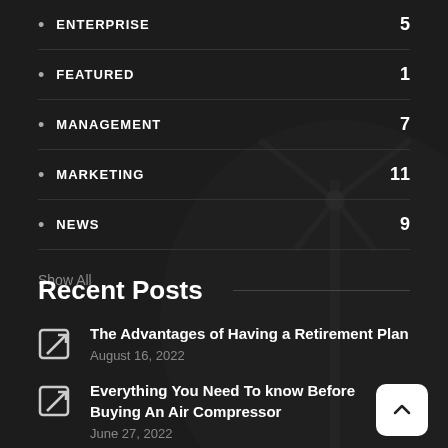ENTERPRISE 5
FEATURED 1
MANAGEMENT 7
MARKETING 11
NEWS 9
Show All
Recent Posts
The Advantages of Having a Retirement Plan
August 16, 2022
Everything You Need To know Before Buying An Air Compressor
June 27, 2022